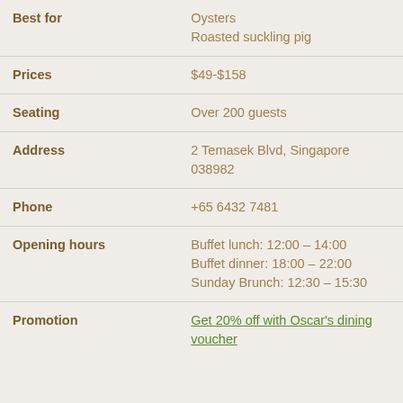| Field | Value |
| --- | --- |
| Best for | Oysters
Roasted suckling pig |
| Prices | $49-$158 |
| Seating | Over 200 guests |
| Address | 2 Temasek Blvd, Singapore 038982 |
| Phone | +65 6432 7481 |
| Opening hours | Buffet lunch: 12:00 – 14:00
Buffet dinner: 18:00 – 22:00
Sunday Brunch: 12:30 – 15:30 |
| Promotion | Get 20% off with Oscar's dining voucher |